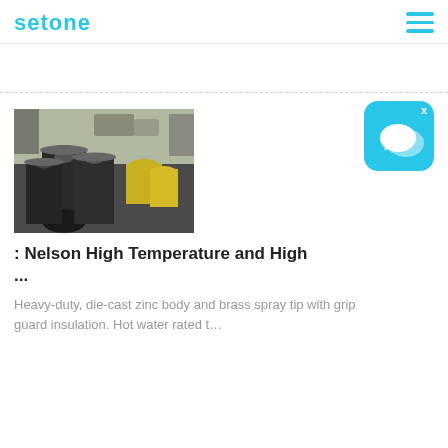setone
[Figure (photo): Stack of large black industrial rubber hoses with flanged ends, and some yellow hoses visible. Outdoor setting with vehicles and buildings in background.]
: Nelson High Temperature and High ...
Heavy-duty, die-cast zinc body and brass spray tip with grip guard insulation. Hot water rated t…